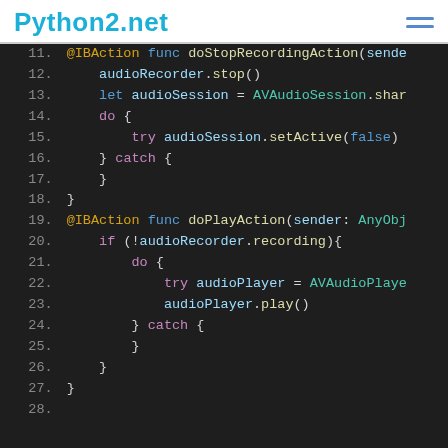Python2.net
[Figure (screenshot): Code editor screenshot showing Swift code lines 11-28 with syntax highlighting on dark background. Code includes @IBAction functions doStopRecordingAction and doPlayAction with audio session and player logic.]